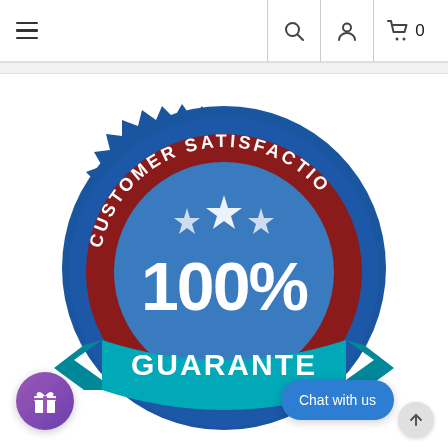Navigation bar with hamburger menu, search, user account, and cart (0) icons
[Figure (illustration): Customer Satisfaction 100% Guarantee badge/seal. A large circular badge with blue serrated outer ring, dark red/maroon band reading 'CUSTOMER SATISFACTION' in white text, a blue inner circle with three white stars, bold white '100%' text in the center, and a teal/cyan ribbon at the bottom reading 'GUARANTEE'. The badge is partially cropped at the bottom and right.]
[Figure (illustration): Purple circular gift/reward button icon in the lower left corner]
[Figure (illustration): Blue rounded 'Chat with us' button in the lower right area]
[Figure (illustration): Gray circular scroll-to-top arrow button at bottom right]